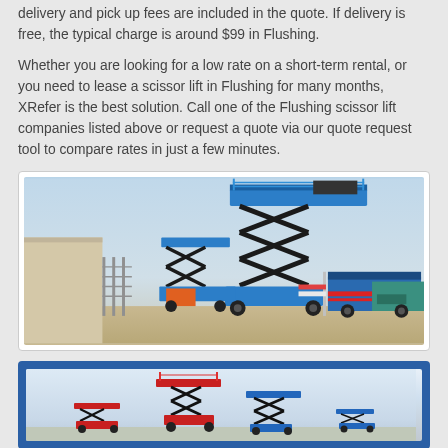delivery and pick up fees are included in the quote. If delivery is free, the typical charge is around $99 in Flushing.
Whether you are looking for a low rate on a short-term rental, or you need to lease a scissor lift in Flushing for many months, XRefer is the best solution. Call one of the Flushing scissor lift companies listed above or request a quote via our quote request tool to compare rates in just a few minutes.
[Figure (photo): Photo of a large blue scissor lift elevated high, with additional equipment and machinery visible in the background including trailers and generators, in an outdoor industrial area.]
[Figure (photo): Photo of multiple smaller red and blue scissor lifts at varying heights in a showroom or outdoor setting, displayed against a light blue background, shown inside a blue-bordered frame.]